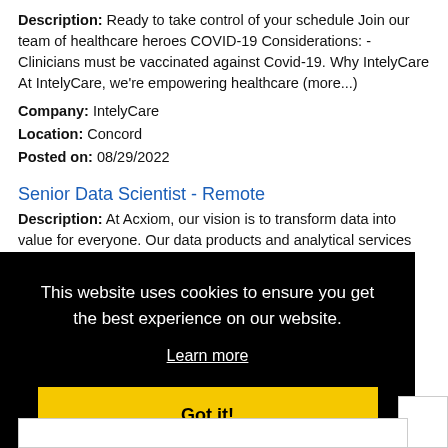Description: Ready to take control of your schedule Join our team of healthcare heroes COVID-19 Considerations: -Clinicians must be vaccinated against Covid-19. Why IntelyCare At IntelyCare, we're empowering healthcare (more...)
Company: IntelyCare
Location: Concord
Posted on: 08/29/2022
Senior Data Scientist - Remote
Description: At Acxiom, our vision is to transform data into value for everyone. Our data products and analytical services enable marketers to recognize, better understand, and then deliver highly applicable messages (more...)
This website uses cookies to ensure you get the best experience on our website. Learn more Got it!